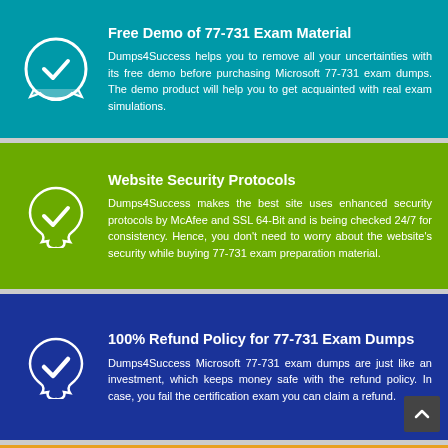Free Demo of 77-731 Exam Material
Dumps4Success helps you to remove all your uncertainties with its free demo before purchasing Microsoft 77-731 exam dumps. The demo product will help you to get acquainted with real exam simulations.
Website Security Protocols
Dumps4Success makes the best site uses enhanced security protocols by McAfee and SSL 64-Bit and is being checked 24/7 for consistency. Hence, you don't need to worry about the website's security while buying 77-731 exam preparation material.
100% Refund Policy for 77-731 Exam Dumps
Dumps4Success Microsoft 77-731 exam dumps are just like an investment, which keeps money safe with the refund policy. In case, you fail the certification exam you can claim a refund.
24/7 Customers support for 77-731 Dumps